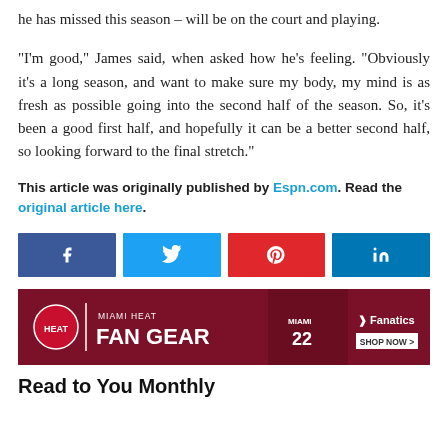he has missed this season – will be on the court and playing.
"I'm good," James said, when asked how he's feeling. "Obviously it's a long season, and want to make sure my body, my mind is as fresh as possible going into the second half of the season. So, it's been a good first half, and hopefully it can be a better second half, so looking forward to the final stretch."
This article was originally published by Espn.com. Read the original article here.
[Figure (infographic): Social media share buttons: Facebook (blue), Twitter (light blue), Pinterest (red), LinkedIn (dark blue)]
[Figure (infographic): Miami Heat Fan Gear advertisement banner with Fanatics branding, showing players in Heat jersey #22]
Read to You Monthly